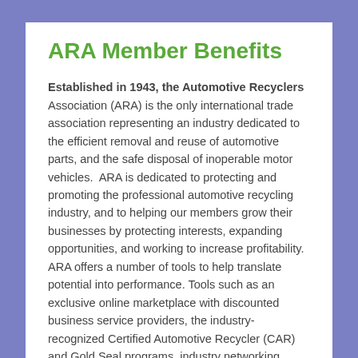ARA Member Benefits
Established in 1943, the Automotive Recyclers Association (ARA) is the only international trade association representing an industry dedicated to the efficient removal and reuse of automotive parts, and the safe disposal of inoperable motor vehicles.  ARA is dedicated to protecting and promoting the professional automotive recycling industry, and to helping our members grow their businesses by protecting interests, expanding opportunities, and working to increase profitability. ARA offers a number of tools to help translate potential into performance. Tools such as an exclusive online marketplace with discounted business service providers, the industry-recognized Certified Automotive Recycler (CAR) and Gold Seal programs, industry networking